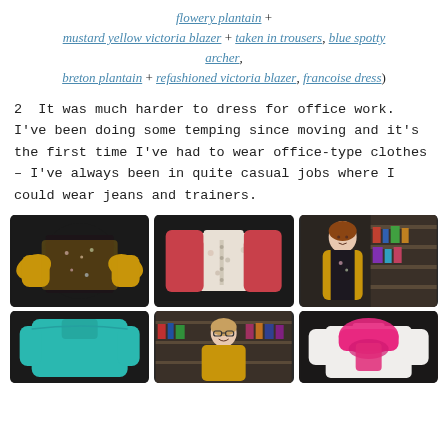flowery plantain + mustard yellow victoria blazer + taken in trousers, blue spotty archer, breton plantain + refashioned victoria blazer, francoise dress)
2  It was much harder to dress for office work. I've been doing some temping since moving and it's the first time I've had to wear office-type clothes – I've always been in quite casual jobs where I could wear jeans and trainers.
[Figure (photo): Yellow cardigan with floral dress laid flat on dark background]
[Figure (photo): Red/pink cardigan over floral shirt laid flat on dark background]
[Figure (photo): Woman wearing floral top and yellow cardigan standing in front of bookshelf]
[Figure (photo): Teal/turquoise top laid flat on dark background]
[Figure (photo): Woman with glasses wearing mustard/yellow outfit standing in front of bookshelf]
[Figure (photo): White shirt with bright pink/magenta scarf on dark background]